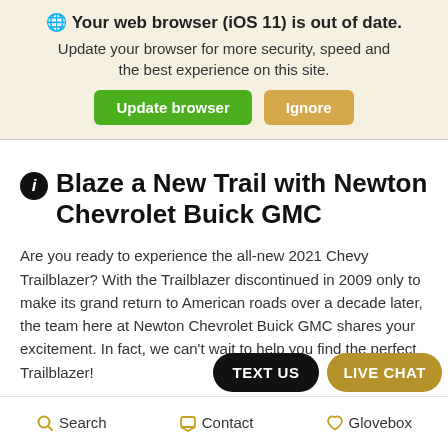🌐 Your web browser (iOS 11) is out of date. Update your browser for more security, speed and the best experience on this site. [Update browser] [Ignore]
ℹ Blaze a New Trail with Newton Chevrolet Buick GMC
Are you ready to experience the all-new 2021 Chevy Trailblazer? With the Trailblazer discontinued in 2009 only to make its grand return to American roads over a decade later, the team here at Newton Chevrolet Buick GMC shares your excitement. In fact, we can't wait to help you find the perfect Trailblazer!
We know that buying a vehicle can be a... people, especially if your previous experience was time-consuming
Search   Contact   Glovebox